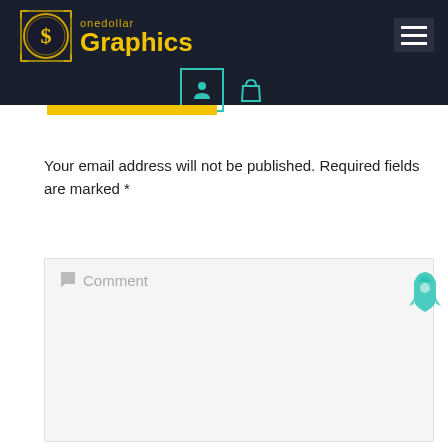[Figure (logo): onedollar Graphics logo with dollar coin icon and text]
[Figure (infographic): Navigation icons: user account icon in teal box and shopping bag icon]
Your email address will not be published. Required fields are marked *
[Figure (screenshot): Comment text input box with speech bubble placeholder icon and Comment placeholder text, with a teal rocket icon in the bottom right]